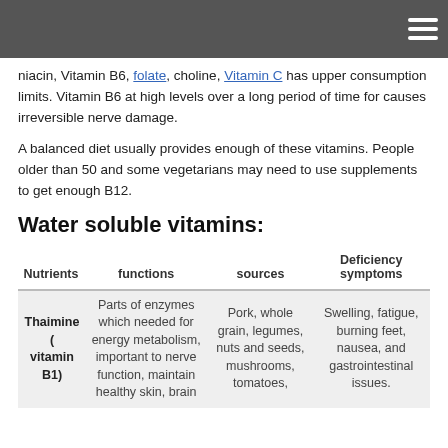niacin, Vitamin B6, folate, choline, Vitamin C has upper consumption limits. Vitamin B6 at high levels over a long period of time for causes irreversible nerve damage.
A balanced diet usually provides enough of these vitamins. People older than 50 and some vegetarians may need to use supplements to get enough B12.
Water soluble vitamins:
| Nutrients | functions | sources | Deficiency symptoms |
| --- | --- | --- | --- |
| Thaimine ( vitamin B1) | Parts of enzymes which needed for energy metabolism, important to nerve function, maintain healthy skin, brain | Pork, whole grain, legumes, nuts and seeds, mushrooms, tomatoes, | Swelling, fatigue, burning feet, nausea, and gastrointestinal issues. |